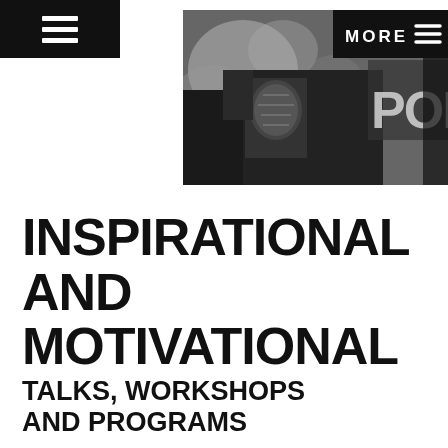[Figure (screenshot): Black navigation bar with hamburger menu icon (three white horizontal lines) in top-left corner of a website]
[Figure (photo): Black and white photograph of a police officer showing badge/patch on uniform sleeve, with 'POL' text visible on right side. A 'MORE' button with hamburger lines is overlaid in the top-right of the image.]
INSPIRATIONAL AND MOTIVATIONAL
TALKS, WORKSHOPS AND PROGRAMS